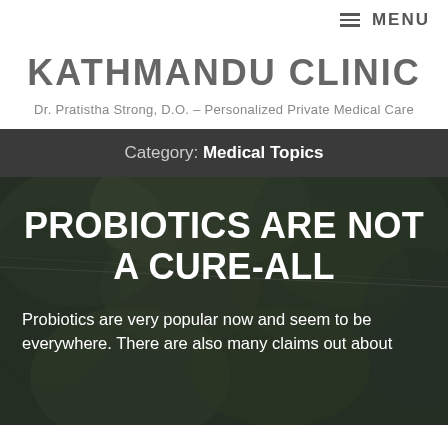≡ MENU
KATHMANDU CLINIC
Dr. Pratistha Strong, D.O. – Personalized Private Medical Care
Category: Medical Topics
[Figure (photo): Background photo of trees and foliage with dark overlay, containing article title and introductory text]
PROBIOTICS ARE NOT A CURE-ALL
Probiotics are very popular now and seem to be everywhere. There are also many claims out about